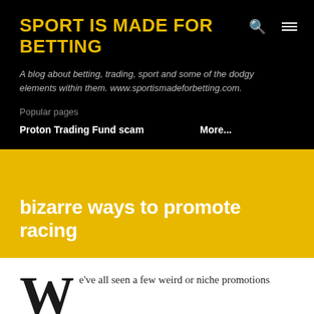SPORT IS MADE FOR BETTING
A blog about betting, trading, sport and some of the dodgy elements within them. www.sportismadeforbetting.com.
Popular pages
Proton Trading Fund scam    More...
bizarre ways to promote racing
e've all seen a few weird or niche promotions